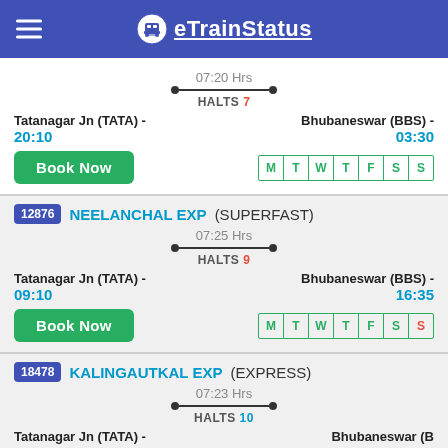eTrainStatus
07:20 Hrs
HALTS 7
Tatanagar Jn (TATA) - 20:10
Bhubaneswar (BBS) - 03:30
Book Now
M T W T F S S
12876 NEELANCHAL EXP (SUPERFAST)
07:25 Hrs
HALTS 9
Tatanagar Jn (TATA) - 09:10
Bhubaneswar (BBS) - 16:35
Book Now
M T W T F S S
18478 KALINGAUTKAL EXP (EXPRESS)
07:23 Hrs
HALTS 10
Tatanagar Jn (TATA) - 18:20
Bhubaneswar (BBS) - ...